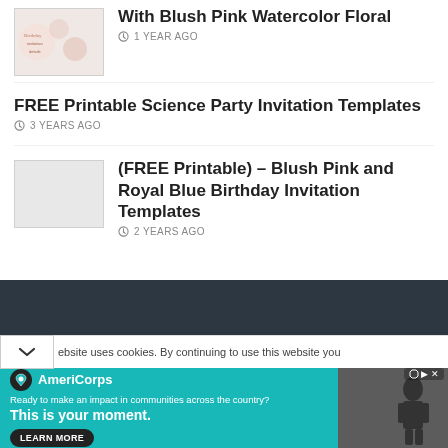With Blush Pink Watercolor Floral
1 YEAR AGO
FREE Printable Science Party Invitation Templates
3 YEARS AGO
[Figure (illustration): Light gray placeholder thumbnail image]
(FREE Printable) – Blush Pink and Royal Blue Birthday Invitation Templates
2 YEARS AGO
ebsite uses cookies. By continuing to use this website you
[Figure (other): AmeriCorps advertisement banner: Ready to make an impact in communities across the country? This is your moment. LEARN MORE]